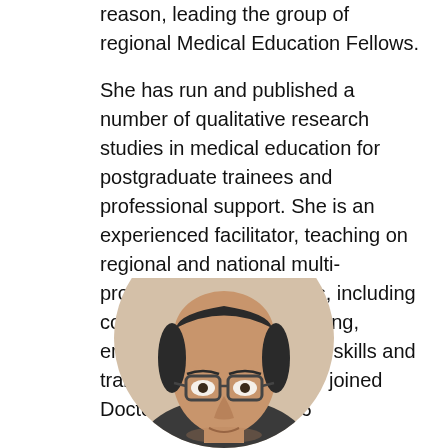…reason, leading the group of regional Medical Education Fellows.

She has run and published a number of qualitative research studies in medical education for postgraduate trainees and professional support. She is an experienced facilitator, teaching on regional and national multi-professional programmes, including courses for specialty training, enhanced communication skills and training the trainers.  She joined DoctorsTraining in 2016
[Figure (photo): Circular cropped photo of a man with glasses, balding head, dark hair on sides, wearing what appears to be a dark top. Only the head and upper shoulders are visible.]